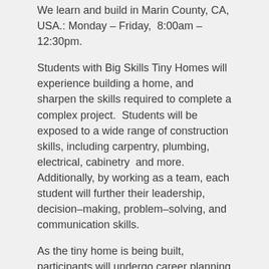We learn and build in Marin County, CA, USA.: Monday – Friday,  8:00am – 12:30pm.
Students with Big Skills Tiny Homes will experience building a home, and sharpen the skills required to complete a complex project.  Students will be exposed to a wide range of construction skills, including carpentry, plumbing, electrical, cabinetry  and more.  Additionally, by working as a team, each student will further their leadership, decision–making, problem–solving, and communication skills.
As the tiny home is being built, participants will undergo career planning sessions.  BSTH will provide recommendations for placements and check in with graduates to ensure that graduates continue to move towards their goals. BSTH is  committed to supporting its graduates to ensure their long–term success.